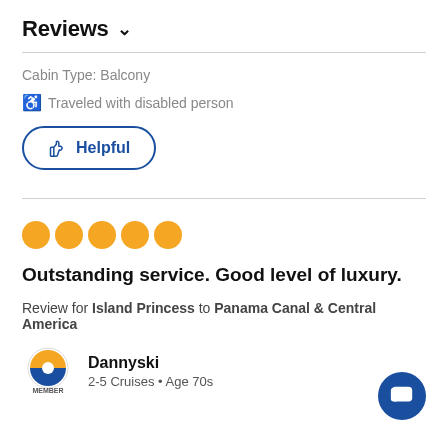Reviews ∨
Cabin Type: Balcony
♿ Traveled with disabled person
👍 Helpful
[Figure (other): Five orange filled circles representing a 5-star rating]
Outstanding service. Good level of luxury.
Review for Island Princess to Panama Canal & Central America
Dannyski
2-5 Cruises • Age 70s